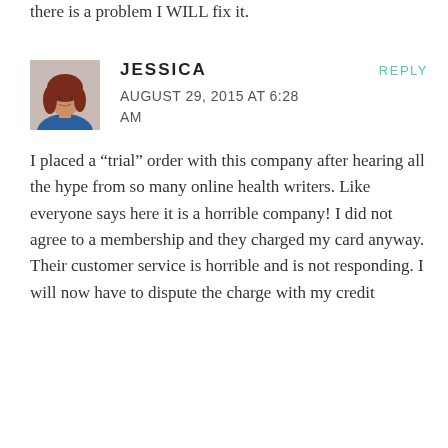there is a problem I WILL fix it.
[Figure (photo): Profile photo of a woman with red hair wearing a blue top]
JESSICA
REPLY
AUGUST 29, 2015 AT 6:28 AM
I placed a “trial” order with this company after hearing all the hype from so many online health writers. Like everyone says here it is a horrible company! I did not agree to a membership and they charged my card anyway. Their customer service is horrible and is not responding. I will now have to dispute the charge with my credit